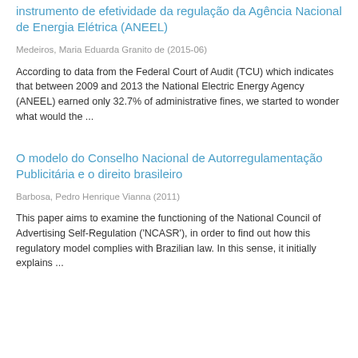instrumento de efetividade da regulação da Agência Nacional de Energia Elétrica (ANEEL)
Medeiros, Maria Eduarda Granito de (2015-06)
According to data from the Federal Court of Audit (TCU) which indicates that between 2009 and 2013 the National Electric Energy Agency (ANEEL) earned only 32.7% of administrative fines, we started to wonder what would the ...
O modelo do Conselho Nacional de Autorregulamentação Publicitária e o direito brasileiro
Barbosa, Pedro Henrique Vianna (2011)
This paper aims to examine the functioning of the National Council of Advertising Self-Regulation ('NCASR'), in order to find out how this regulatory model complies with Brazilian law. In this sense, it initially explains ...